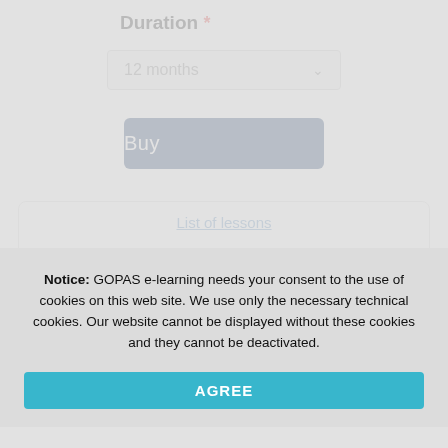Duration *
[Figure (screenshot): Dropdown selector showing '12 months' option]
[Figure (screenshot): Blue 'Buy' button]
[Figure (screenshot): Card with 'List of lessons' link partially visible]
Notice: GOPAS e-learning needs your consent to the use of cookies on this web site. We use only the necessary technical cookies. Our website cannot be displayed without these cookies and they cannot be deactivated.
[Figure (screenshot): Cyan 'AGREE' button]
مقدمة في برنامج Word
إدخال النص وتحريره